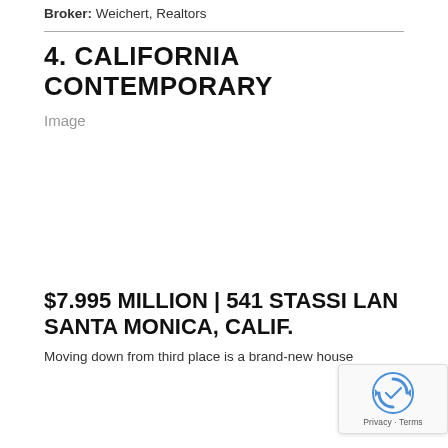Broker: Weichert, Realtors
4. CALIFORNIA CONTEMPORARY
[Figure (photo): Placeholder image area labeled 'Image' for California Contemporary property]
$7.995 MILLION | 541 STASSI LAN... SANTA MONICA, CALIF.
Moving down from third place is a brand-new house